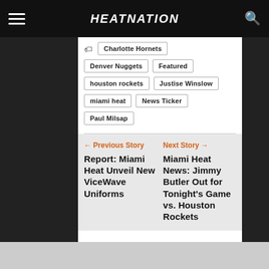HEATNATION
Charlotte Hornets
Denver Nuggets
Featured
houston rockets
Justise Winslow
miami heat
News Ticker
Paul Milsap
← Previous Story
Report: Miami Heat Unveil New ViceWave Uniforms
Next Story →
Miami Heat News: Jimmy Butler Out for Tonight's Game vs. Houston Rockets